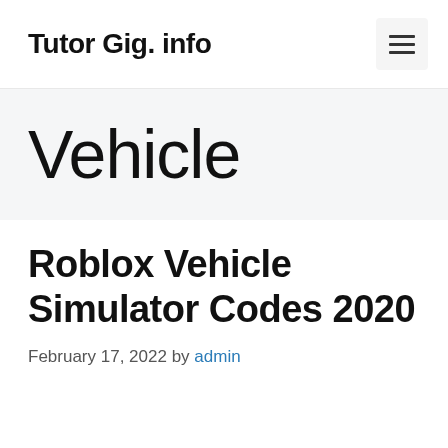Tutor Gig. info
Vehicle
Roblox Vehicle Simulator Codes 2020
February 17, 2022 by admin